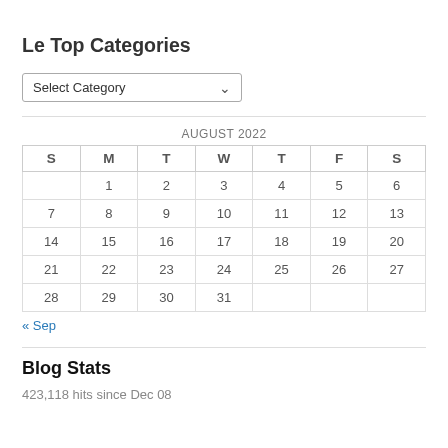Le Top Categories
[Figure (other): Dropdown select box showing 'Select Category']
| S | M | T | W | T | F | S |
| --- | --- | --- | --- | --- | --- | --- |
|  | 1 | 2 | 3 | 4 | 5 | 6 |
| 7 | 8 | 9 | 10 | 11 | 12 | 13 |
| 14 | 15 | 16 | 17 | 18 | 19 | 20 |
| 21 | 22 | 23 | 24 | 25 | 26 | 27 |
| 28 | 29 | 30 | 31 |  |  |  |
« Sep
Blog Stats
423,118 hits since Dec 08